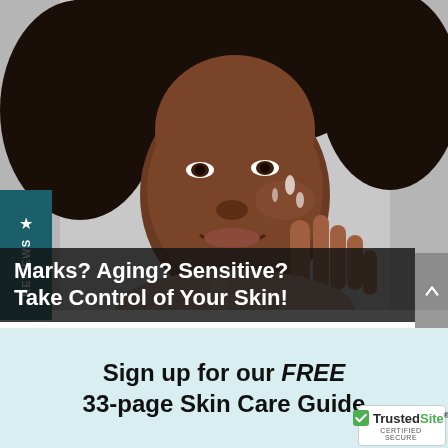[Figure (photo): A Black woman with curly natural hair applies skincare cream to her cheek with her fingers, smiling, against a light gray background.]
★ REVIEWS
Marks? Aging? Sensitive? Take Control of Your Skin!
Sign up for our FREE 33-page Skin Care Guide
[Figure (logo): TrustedSite CERTIFIED SECURE badge with green checkmark shield logo.]